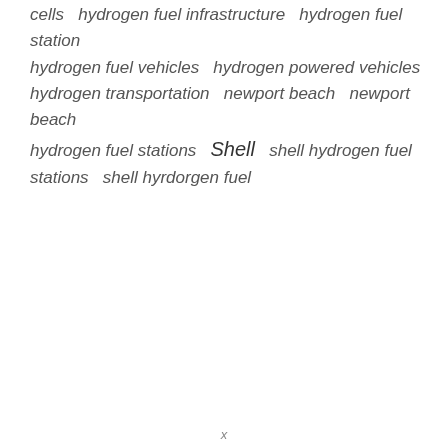cells  hydrogen fuel infrastructure  hydrogen fuel station  hydrogen fuel vehicles  hydrogen powered vehicles  hydrogen transportation  newport beach  newport beach  hydrogen fuel stations  Shell  shell hydrogen fuel stations  shell hyrdorgen fuel
x